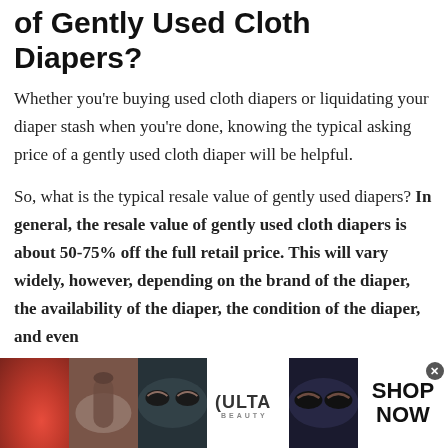of Gently Used Cloth Diapers?
Whether you're buying used cloth diapers or liquidating your diaper stash when you're done, knowing the typical asking price of a gently used cloth diaper will be helpful.
So, what is the typical resale value of gently used diapers? In general, the resale value of gently used cloth diapers is about 50-75% off the full retail price. This will vary widely, however, depending on the brand of the diaper, the availability of the diaper, the condition of the diaper, and even
[Figure (advertisement): Ulta Beauty advertisement banner showing makeup/beauty images with 'SHOP NOW' text]